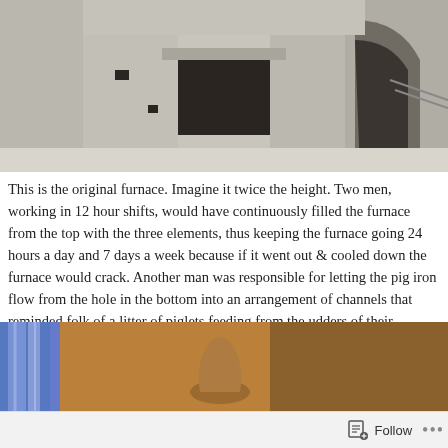[Figure (photo): Photograph of an original stone furnace structure, showing ancient stonework with a dark opening/doorway and an archway visible to the right. The walls appear rough and whitish-grey.]
This is the original furnace. Imagine it twice the height. Two men, working in 12 hour shifts, would have continuously filled the furnace from the top with the three elements, thus keeping the furnace going 24 hours a day and 7 days a week because if it went out & cooled down the furnace would crack. Another man was responsible for letting the pig iron flow from the hole in the bottom into an arrangement of channels that reminded folk of a litter of piglets feeding from the udders of their mother.
To keep the temperature up a huge water wheel powered two enormous bellows which blasted a continuous stream of hot air across the bottom of the furnace.
[Figure (photo): Partial photograph showing blue and orange/warm light streaks, possibly depicting flames or heat effects, with a ceramic or clay vessel silhouette visible.]
Follow  •••